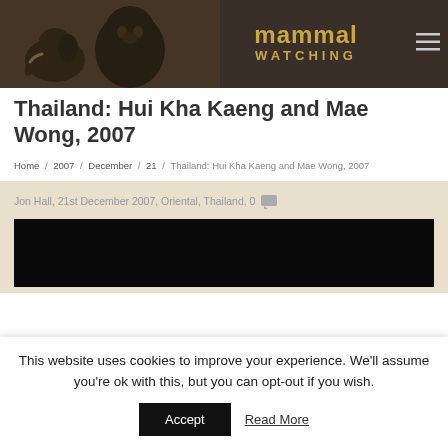mammal WATCHING
Thailand: Hui Kha Kaeng and Mae Wong, 2007
Home / 2007 / December / 21 / Thailand: Hui Kha Kaeng and Mae Wong, 2007
Jon Hall, 21st December 2007, Oriental, Thailand, 0
[Figure (photo): Dark/black photo thumbnail]
This website uses cookies to improve your experience. We'll assume you're ok with this, but you can opt-out if you wish. Accept  Read More